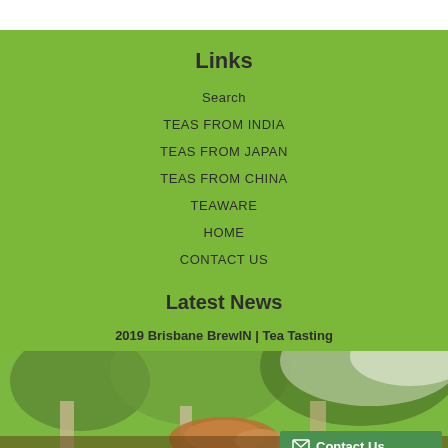Links
Search
TEAS FROM INDIA
TEAS FROM JAPAN
TEAS FROM CHINA
TEAWARE
HOME
CONTACT US
Latest News
2019 Brisbane BrewIN | Tea Tasting
[Figure (photo): Tea pouring photo with outdoor background, partially visible at bottom of page]
Contact Us